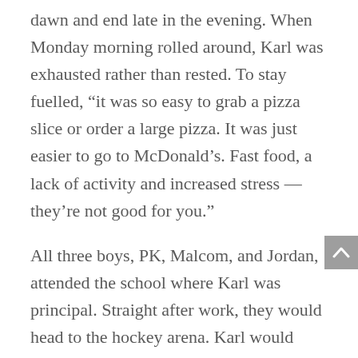dawn and end late in the evening. When Monday morning rolled around, Karl was exhausted rather than rested. To stay fuelled, “it was so easy to grab a pizza slice or order a large pizza. It was just easier to go to McDonald’s. Fast food, a lack of activity and increased stress — they’re not good for you.”
All three boys, PK, Malcom, and Jordan, attended the school where Karl was principal. Straight after work, they would head to the hockey arena. Karl would pack things like Kraft Dinner and chicken fingers as snacks.
Later, when the boys graduated to the